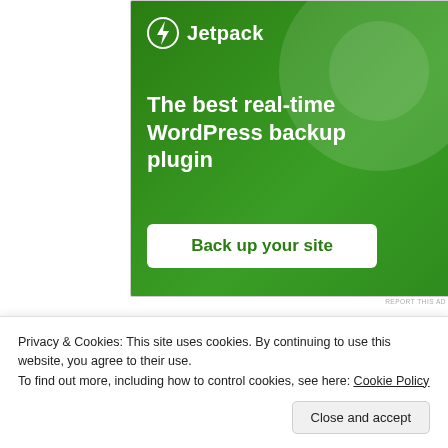[Figure (illustration): Jetpack advertisement banner with green background, Jetpack logo at top left, large white headline text 'The best real-time WordPress backup plugin', and a white 'Back up your site' button.]
REPORT THIS AD
SHARE THIS:
Privacy & Cookies: This site uses cookies. By continuing to use this website, you agree to their use.
To find out more, including how to control cookies, see here: Cookie Policy
Close and accept